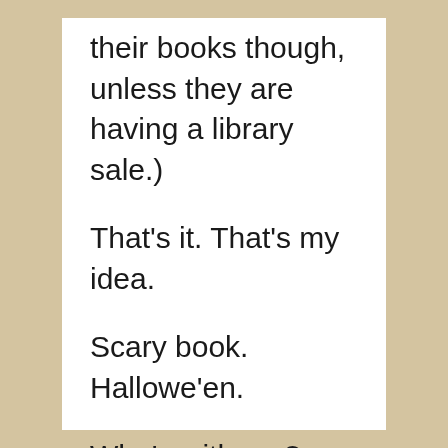their books though, unless they are having a library sale.)
That's it. That's my idea.
Scary book. Hallowe'en.
Who's with me?